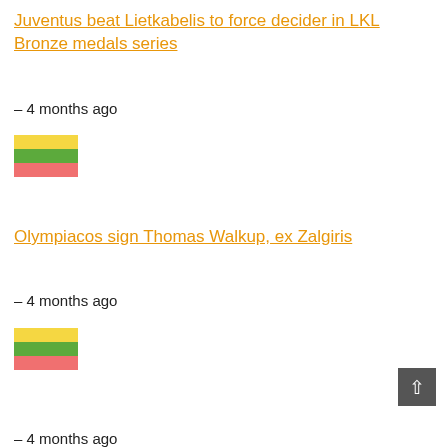Juventus beat Lietkabelis to force decider in LKL Bronze medals series
– 4 months ago
[Figure (illustration): Lithuanian flag (yellow, green, red horizontal stripes)]
Olympiacos sign Thomas Walkup, ex Zalgiris
– 4 months ago
[Figure (illustration): Lithuanian flag (yellow, green, red horizontal stripes)]
– 4 months ago (partially visible at bottom)